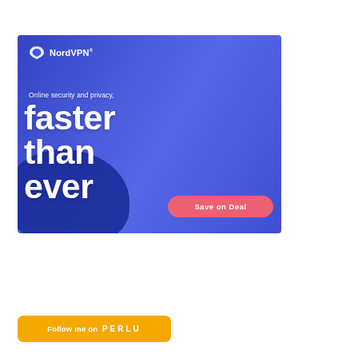[Figure (illustration): NordVPN advertisement banner with blue background showing a woman smiling and using a smartphone. NordVPN logo top left. Text reads 'Online security and privacy, faster than ever' with a pink 'Save on Deal' call-to-action button.]
[Figure (logo): Perlu follow button — yellow/orange rounded rectangle with text 'Follow me on PERLU']